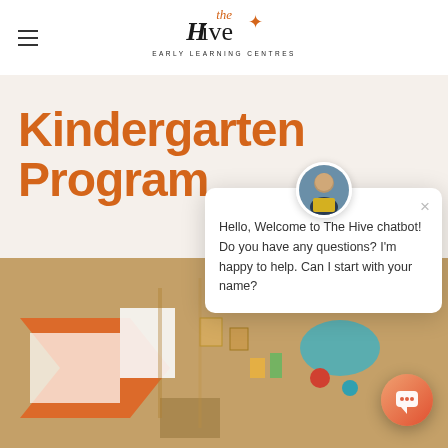The Hive Early Learning Centres
Kindergarten Program
[Figure (photo): Wooden educational toys and craft materials arranged on a table, including geometric shapes, colored discs, and building blocks in orange, teal, and natural wood tones]
[Figure (screenshot): Chatbot popup overlay with avatar of a woman, close button (×), and text: Hello, Welcome to The Hive chatbot! Do you have any questions? I'm happy to help. Can I start with your name?]
Hello, Welcome to The Hive chatbot! Do you have any questions? I'm happy to help. Can I start with your name?